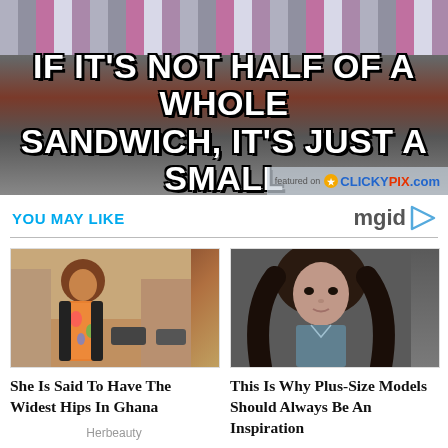[Figure (photo): Meme image with text overlay on striped/colorful background: IF IT'S NOT HALF OF A WHOLE SANDWICH, IT'S JUST A SMALL SANDWICH. Featured on ClickyPix.com watermark.]
YOU MAY LIKE
[Figure (logo): mgid logo with orange underline and play button arrow]
[Figure (photo): Woman with curly hair wearing colorful floral dress standing outdoors in Ghana]
She Is Said To Have The Widest Hips In Ghana
Herbeauty
[Figure (photo): Young woman with long wavy dark hair against dark gray background]
This Is Why Plus-Size Models Should Always Be An Inspiration
Brainberries